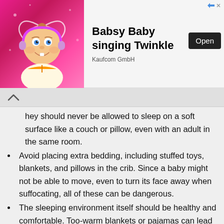[Figure (illustration): Ad banner for 'Babsy Baby singing Twinkle' by Kaufcom GmbH. Shows a cartoon baby with a pink heart background, and an 'Open' button.]
They should never be allowed to sleep on a soft surface like a couch or pillow, even with an adult in the same room.
Avoid placing extra bedding, including stuffed toys, blankets, and pillows in the crib. Since a baby might not be able to move, even to turn its face away when suffocating, all of these can be dangerous.
The sleeping environment itself should be healthy and comfortable. Too-warm blankets or pajamas can lead to your baby developing hyperthermia, becoming dangerously overheated, whereas a child-safe humidifier on the lowest level can keep...